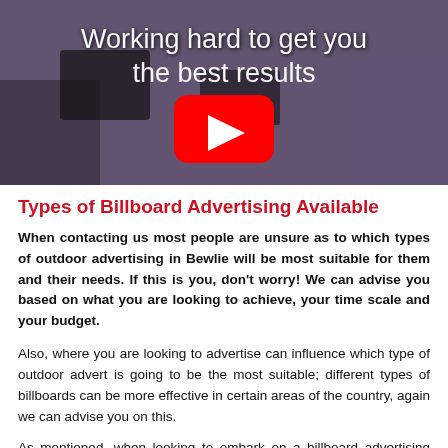[Figure (screenshot): YouTube video thumbnail showing people working at computers with text 'Working hard to get you the best results' and a YouTube play button overlay]
Types of Billboard Advertising Available
When contacting us most people are unsure as to which types of outdoor advertising in Bewlie will be most suitable for them and their needs. If this is you, don't worry! We can advise you based on what you are looking to achieve, your time scale and your budget.
Also, where you are looking to advertise can influence which type of outdoor advert is going to be the most suitable; different types of billboards can be more effective in certain areas of the country, again we can advise you on this.
As mentioned, when looking to embark on a billboard advertising campaign, there are lots of types of outdoor media options to